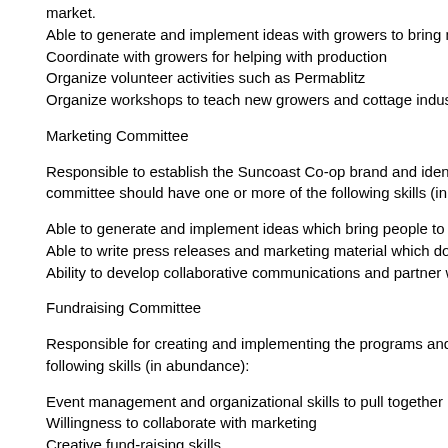market.
Able to generate and implement ideas with growers to bring more products
Coordinate with growers for helping with production
Organize volunteer activities such as Permablitz
Organize workshops to teach new growers and cottage industry for more p
Marketing Committee
Responsible to establish the Suncoast Co-op brand and identity and devel committee should have one or more of the following skills (in abundance):
Able to generate and implement ideas which bring people to our table with
Able to write press releases and marketing material which does the same
Ability to develop collaborative communications and partner with other non
Fundraising Committee
Responsible for creating and implementing the programs and events to rai following skills (in abundance):
Event management and organizational skills to pull together many elemen
Willingness to collaborate with marketing
Creative fund-raising skills